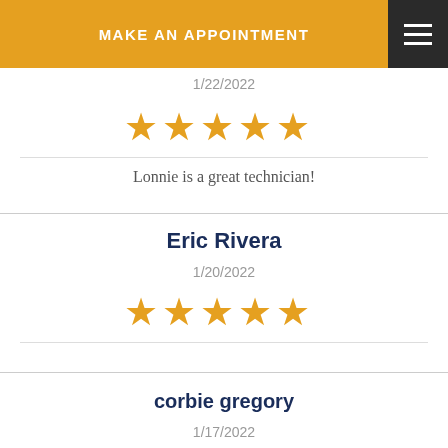MAKE AN APPOINTMENT
1/22/2022
[Figure (other): 5 gold stars rating]
Lonnie is a great technician!
Eric Rivera
1/20/2022
[Figure (other): 5 gold stars rating]
corbie gregory
1/17/2022